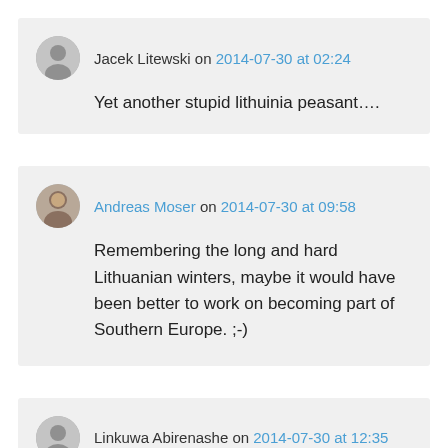Jacek Litewski on 2014-07-30 at 02:24
Yet another stupid lithuinia peasant….
Andreas Moser on 2014-07-30 at 09:58
Remembering the long and hard Lithuanian winters, maybe it would have been better to work on becoming part of Southern Europe. ;-)
Linkuwa Abirenashe on 2014-07-30 at 12:35